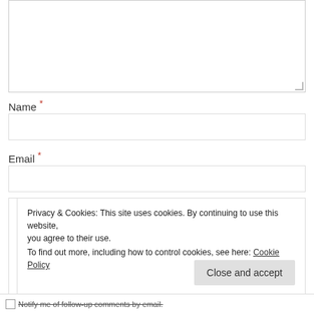[Figure (screenshot): Partially visible textarea form input with resize handle at bottom-right corner]
Name *
[Figure (screenshot): Empty text input field for Name]
Email *
[Figure (screenshot): Empty text input field for Email]
Privacy & Cookies: This site uses cookies. By continuing to use this website, you agree to their use. To find out more, including how to control cookies, see here: Cookie Policy
Close and accept
Notify me of follow-up comments by email.